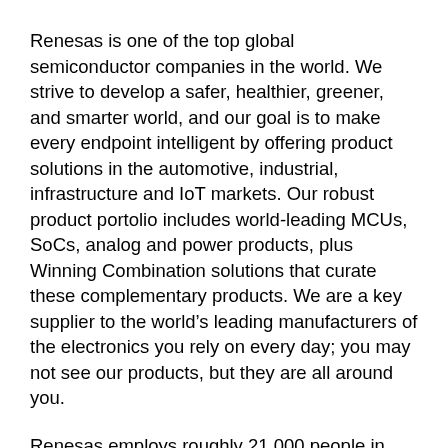Renesas is one of the top global semiconductor companies in the world. We strive to develop a safer, healthier, greener, and smarter world, and our goal is to make every endpoint intelligent by offering product solutions in the automotive, industrial, infrastructure and IoT markets. Our robust product portolio includes world-leading MCUs, SoCs, analog and power products, plus Winning Combination solutions that curate these complementary products. We are a key supplier to the world's leading manufacturers of the electronics you rely on every day; you may not see our products, but they are all around you.
Renesas employs roughly 21,000 people in more than 30 countries worldwide. As a global team, our employees actively embody the Renesas Culture, our guiding principles based on five key elements: Transparent, Agile, Global, Innovative, and Entrepreneurial. Renesas believes in, and has a